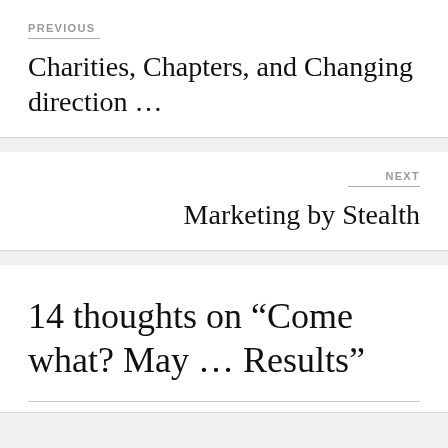PREVIOUS
Charities, Chapters, and Changing direction …
NEXT
Marketing by Stealth
14 thoughts on “Come what? May … Results”